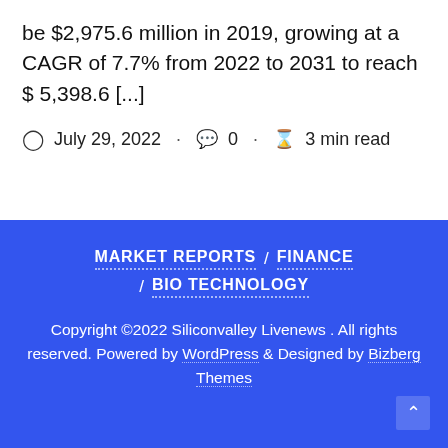be $2,975.6 million in 2019, growing at a CAGR of 7.7% from 2022 to 2031 to reach $ 5,398.6 [...]
July 29, 2022 · 0 · 3 min read
MARKET REPORTS / FINANCE / BIO TECHNOLOGY
Copyright ©2022 Siliconvalley Livenews . All rights reserved. Powered by WordPress & Designed by Bizberg Themes